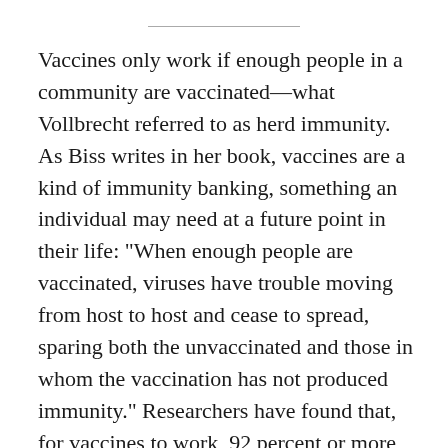Vaccines only work if enough people in a community are vaccinated—what Vollbrecht referred to as herd immunity. As Biss writes in her book, vaccines are a kind of immunity banking, something an individual may need at a future point in their life: "When enough people are vaccinated, viruses have trouble moving from host to host and cease to spread, sparing both the unvaccinated and those in whom the vaccination has not produced immunity." Researchers have found that, for vaccines to work, 92 percent or more of a population must be immunized against the disease. For highly contagious viruses, it takes 95 percent to